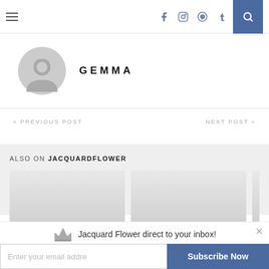Navigation header with hamburger menu, social icons (f, instagram, pinterest, t), and search button
GEMMA
« PREVIOUS POST
NEXT POST »
ALSO ON JACQUARDFLOWER
[Figure (other): Two gray placeholder image cards and a partial third card]
Jacquard Flower direct to your inbox!
Enter your email addre
Subscribe Now